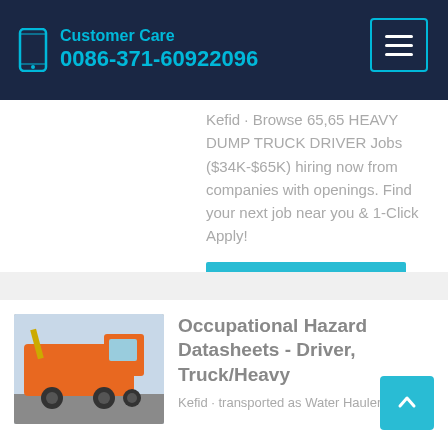Customer Care 0086-371-60922096
Kefid · Browse 65,65 HEAVY DUMP TRUCK DRIVER Jobs ($34K-$65K) hiring now from companies with openings. Find your next job near you & 1-Click Apply!
Learn More
[Figure (photo): Orange heavy dump truck / water hauler truck parked outdoors]
Occupational Hazard Datasheets - Driver, Truck/Heavy
Kefid · transported as Water Hauler